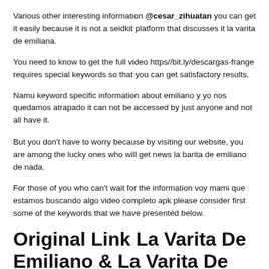twitter la varita de emiliano, @roge24.
Various other interesting information @cesar_zihuatan you can get it easily because it is not a seidkit platform that discusses it la varita de emiliana.
You need to know to get the full video https//bit.ly/descargas-frange requires special keywords so that you can get satisfactory results.
Namu keyword specific information about emiliano y yo nos quedamos atrapado it can not be accessed by just anyone and not all have it.
But you don't have to worry because by visiting our website, you are among the lucky ones who will get news la barita de emiliano de nada.
For those of you who can't wait for the information voy mami que estamos buscando algo video completo apk please consider first some of the keywords that we have presented below.
Original Link La Varita De Emiliano & La Varita De Emiliana
As we have promised above that this time we will provide a special